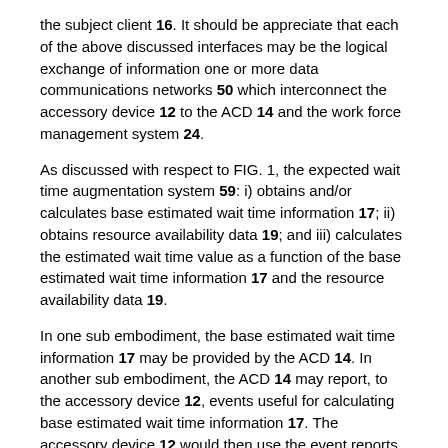the subject client 16. It should be appreciate that each of the above discussed interfaces may be the logical exchange of information one or more data communications networks 50 which interconnect the accessory device 12 to the ACD 14 and the work force management system 24.
As discussed with respect to FIG. 1, the expected wait time augmentation system 59: i) obtains and/or calculates base estimated wait time information 17; ii) obtains resource availability data 19; and iii) calculates the estimated wait time value as a function of the base estimated wait time information 17 and the resource availability data 19.
In one sub embodiment, the base estimated wait time information 17 may be provided by the ACD 14. In another sub embodiment, the ACD 14 may report, to the accessory device 12, events useful for calculating base estimated wait time information 17. The accessory device 12 would then use the event reports for generating base estimated wait time information 17. Examples of events reports to the accessory device 12 may include, but are not limited to: i)